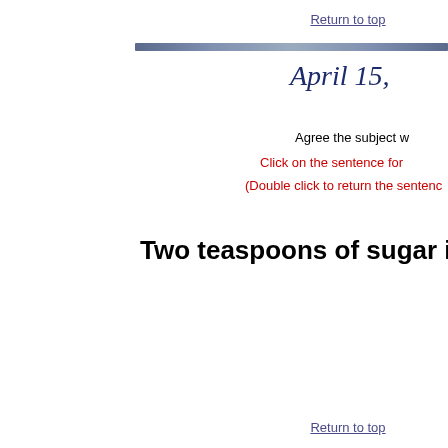Return to top
Agree the subject w
Click on the sentence for
(Double click to return the sentenc
Two teaspoons of sugar in my
Return to top